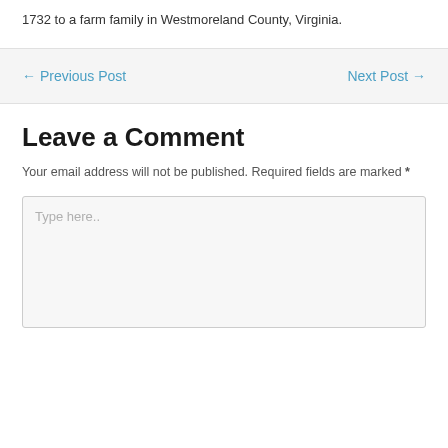1732 to a farm family in Westmoreland County, Virginia.
← Previous Post
Next Post →
Leave a Comment
Your email address will not be published. Required fields are marked *
Type here..